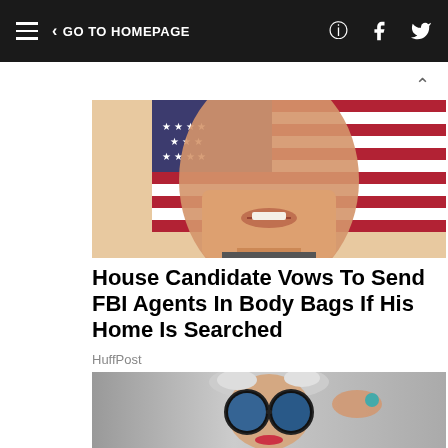≡  < GO TO HOMEPAGE  [Facebook] [Twitter]
[Figure (photo): Close-up photo of a man's face from chin to forehead cropped, with an American flag in the background showing stars and red/white stripes.]
House Candidate Vows To Send FBI Agents In Body Bags If His Home Is Searched
HuffPost
[Figure (photo): Elderly woman with short gray hair wearing large round black sunglasses with blue mirror lenses, red lipstick, and jewelry, holding sunglasses with her hand.]